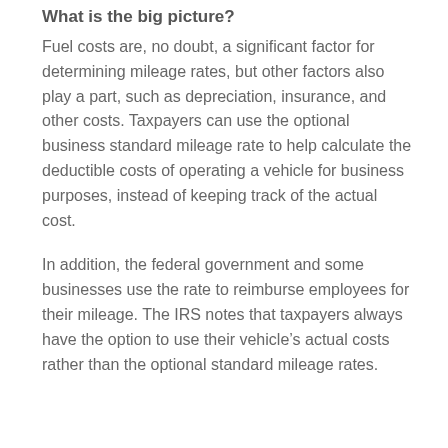What is the big picture?
Fuel costs are, no doubt, a significant factor for determining mileage rates, but other factors also play a part, such as depreciation, insurance, and other costs. Taxpayers can use the optional business standard mileage rate to help calculate the deductible costs of operating a vehicle for business purposes, instead of keeping track of the actual cost.
In addition, the federal government and some businesses use the rate to reimburse employees for their mileage. The IRS notes that taxpayers always have the option to use their vehicle’s actual costs rather than the optional standard mileage rates.